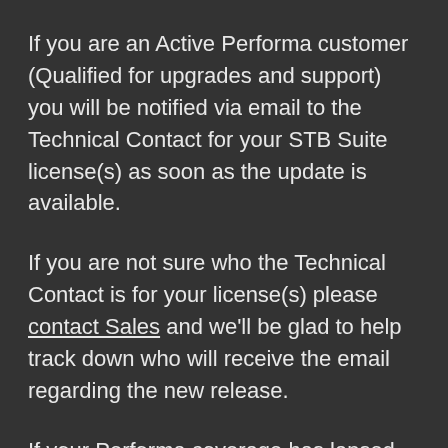If you are an Active Performa customer (Qualified for upgrades and support) you will be notified via email to the Technical Contact for your STB Suite license(s) as soon as the update is available.
If you are not sure who the Technical Contact is for your license(s) please contact Sales and we'll be glad to help track down who will receive the email regarding the new release.
If your Performa coverage has lapsed and you're interested in upgrading to 8.3 please